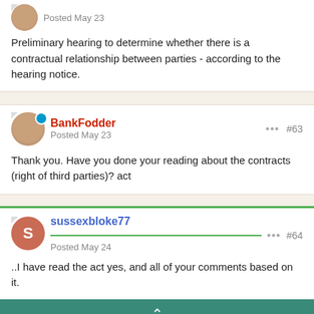Posted May 23
Preliminary hearing to determine whether there is a contractual relationship between parties - according to the hearing notice.
BankFodder
Posted May 23
#63
Thank you. Have you done your reading about the contracts (right of third parties)? act
sussexbloke77
Posted May 24
#64
..I have read the act yes, and all of your comments based on it.